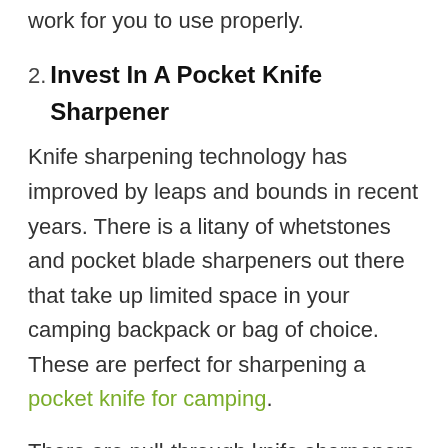work for you to use properly.
2. Invest In A Pocket Knife Sharpener
Knife sharpening technology has improved by leaps and bounds in recent years. There is a litany of whetstones and pocket blade sharpeners out there that take up limited space in your camping backpack or bag of choice. These are perfect for sharpening a pocket knife for camping.
There are pull-through knife sharpeners that are both portable and super simple to slide your blade through. There are also pocket rods and pocket diamond plates that are built to attach to